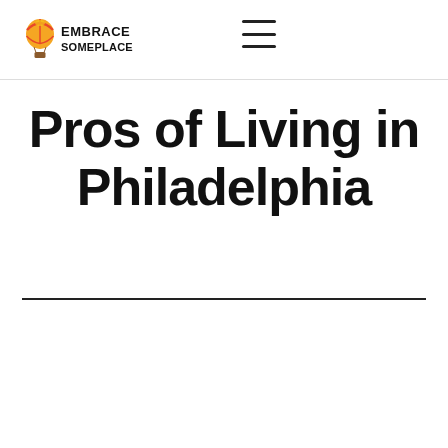Embrace Someplace
Pros of Living in Philadelphia